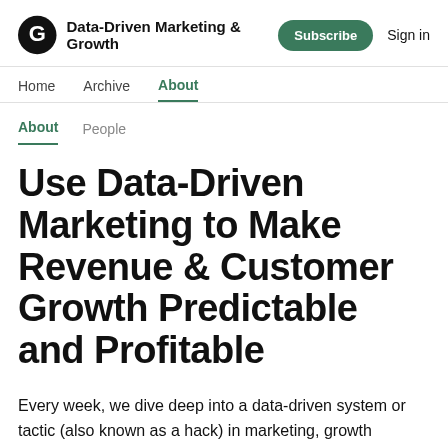Data-Driven Marketing & Growth
Home  Archive  About
About  People
Use Data-Driven Marketing to Make Revenue & Customer Growth Predictable and Profitable
Every week, we dive deep into a data-driven system or tactic (also known as a hack) in marketing, growth